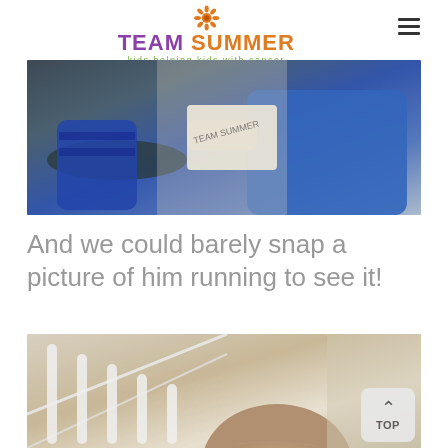TEAM SUMMER — kids helping kids with cancer
[Figure (photo): Two children sitting, one holding a Team Summer envelope/package, photographed from behind/side. The child on the right is wearing a blue shirt.]
And we could barely snap a picture of him running to see it!
[Figure (photo): A bald child (head visible, likely a cancer patient) near white staircase banisters inside a home.]